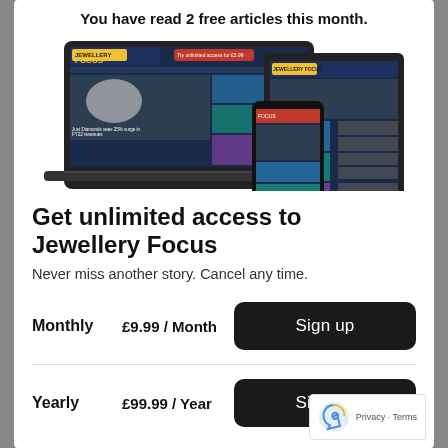You have read 2 free articles this month.
[Figure (screenshot): Screenshot of Jewellery Focus website displayed on laptop, tablet, and mobile phone devices]
Get unlimited access to Jewellery Focus
Never miss another story. Cancel any time.
Monthly   £9.99 / Month   Sign up
Yearly   £99.99 / Year   Sign up